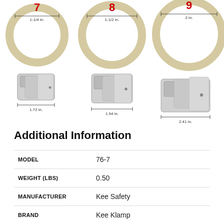[Figure (engineering-diagram): Three pipe sizes shown: size 7 (1-1/4 in. pipe, 1.72 in. fitting width), size 8 (1-1/2 in. pipe, 1.94 in. fitting width), size 9 (2 in. pipe, 2.41 in. fitting width). Each shows a ring/pipe cross-section above and a metal pipe clamp fitting below with dimension callouts.]
Additional Information
|  |  |
| --- | --- |
| MODEL | 76-7 |
| WEIGHT (LBS) | 0.50 |
| MANUFACTURER | Kee Safety |
| BRAND | Kee Klamp |